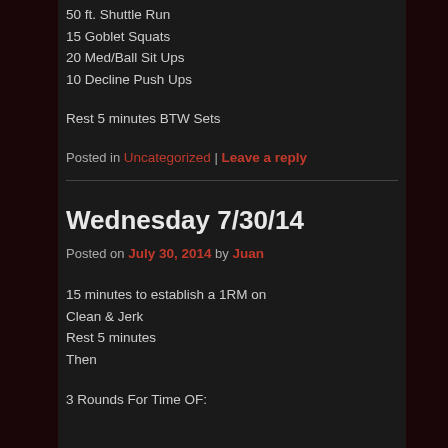50 ft. Shuttle Run
15 Goblet Squats
20 Med/Ball Sit Ups
10 Decline Push Ups
Rest 5 minutes BTW Sets
Posted in Uncategorized | Leave a reply
Wednesday 7/30/14
Posted on July 30, 2014 by Juan
15 minutes to establish a 1RM on
Clean & Jerk
Rest 5 minutes
Then
3 Rounds For Time OF: